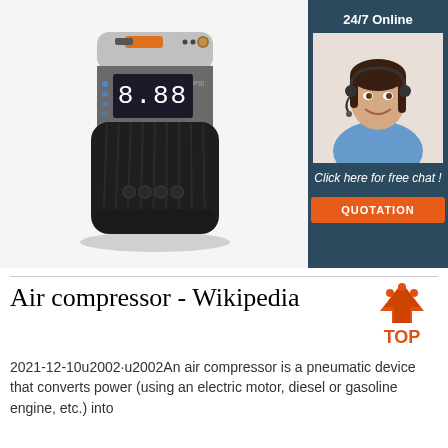[Figure (photo): Black portable air compressor/tire inflator with digital LED display showing 8.88, orange USB port on top, and four button indicators on front face]
[Figure (photo): Customer service agent - woman with headset smiling, shown in side panel with dark blue background, labeled 24/7 Online with Click here for free chat and QUOTATION button]
Air compressor - Wikipedia
[Figure (logo): TOP logo with orange and dark triangular arrow pointing up and text TOP in orange]
2021-12-10u2002·u2002An air compressor is a pneumatic device that converts power (using an electric motor, diesel or gasoline engine, etc.) into